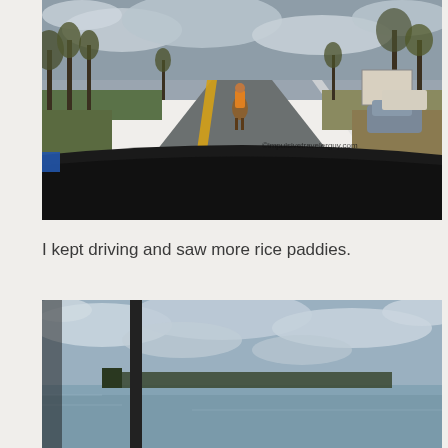[Figure (photo): View from inside a car dashboard looking ahead at a road with a person riding a horse in the center lane. Trees line both sides of the road. Cars are parked on the right. Watermark reads ©impulsivetravelerguy.com]
I kept driving and saw more rice paddies.
[Figure (photo): View from inside a car window showing flooded rice paddies under a cloudy sky. A vertical window pillar is visible. Water reflects the sky and dead vegetation lines the far shore.]